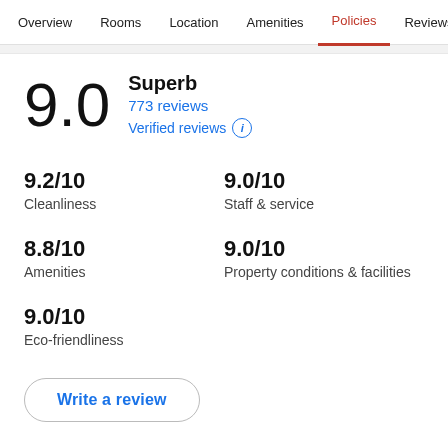Overview  Rooms  Location  Amenities  Policies  Reviews
9.0
Superb
773 reviews
Verified reviews
9.2/10
Cleanliness
9.0/10
Staff & service
8.8/10
Amenities
9.0/10
Property conditions & facilities
9.0/10
Eco-friendliness
Write a review